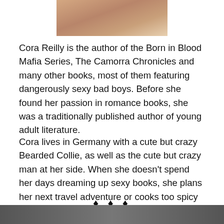[Figure (photo): Partial photo of a woman (cropped, top portion visible) with dark curly hair, visible at the top of the page]
Cora Reilly is the author of the Born in Blood Mafia Series, The Camorra Chronicles and many other books, most of them featuring dangerously sexy bad boys. Before she found her passion in romance books, she was a traditionally published author of young adult literature.
Cora lives in Germany with a cute but crazy Bearded Collie, as well as the cute but crazy man at her side. When she doesn't spend her days dreaming up sexy books, she plans her next travel adventure or cooks too spicy dishes from all over the world.
♦ ♦ ♦
[Figure (photo): Partial photo visible at the bottom of the page, dark tones]